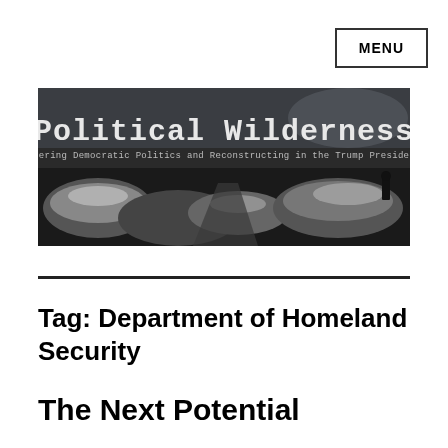MENU
[Figure (illustration): Political Wilderness website banner. Dark panoramic landscape photo with snow-covered rocky terrain. Large text reads 'Political Wilderness' with subtitle 'Covering Democratic Politics and Reconstructing in the Trump Presidency'.]
Tag: Department of Homeland Security
The Next Potential